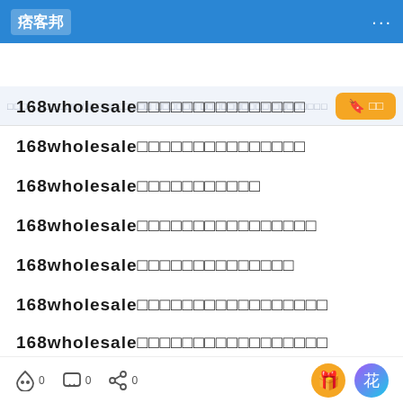痞客邦 · · ·
□□□□ □□□□□□ □□□□□□□□□□ □□□□□□ □□□□□□□□□□ □□□□□□□□ □□□□□□... 🔖 □□
168wholesale□□□□□□□□□□□□□□□
168wholesale□□□□□□□□□□□□□□□
168wholesale□□□□□□□□□□□
168wholesale□□□□□□□□□□□□□□□□
168wholesale□□□□□□□□□□□□□□
168wholesale□□□□□□□□□□□□□□□□□
168wholesale□□□□□□□□□□□□□□□□□
168wholesale□□□□□□□□□□□□□□□
🎁 ZANZAN-□□□□□□□□ ×
□□□□□PIXNET□□□□8□□  430 □
□□□□□□